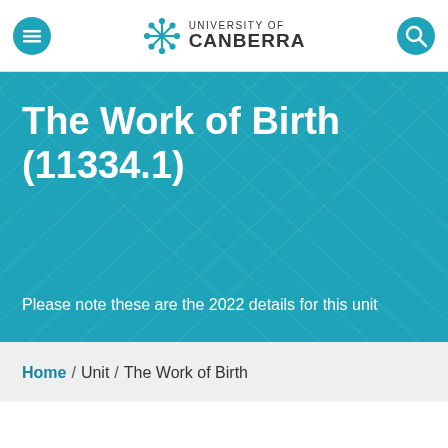University of Canberra
The Work of Birth (11334.1)
Please note these are the 2022 details for this unit
Home / Unit / The Work of Birth